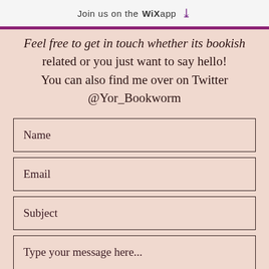Join us on the WiX app
Feel free to get in touch whether its bookish related or you just want to say hello! You can also find me over on Twitter @Yor_Bookworm
Name
Email
Subject
Type your message here...